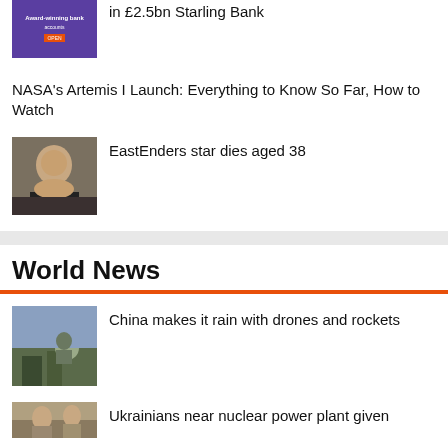[Figure (photo): Bank advertisement thumbnail with purple background showing award-winning bank accounts]
Fund Manager Capitec in talks to sell 10% stake in £2.5bn Starling Bank
NASA's Artemis I Launch: Everything to Know So Far, How to Watch
[Figure (photo): Photo of a man smiling, EastEnders star]
EastEnders star dies aged 38
World News
[Figure (photo): Photo related to China rain-making with drones and rockets]
China makes it rain with drones and rockets
[Figure (photo): Photo related to Ukrainians near nuclear power plant]
Ukrainians near nuclear power plant given